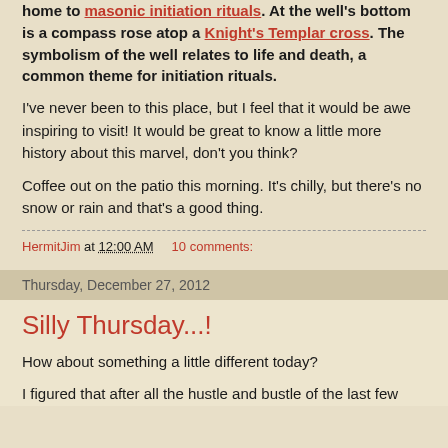home to masonic initiation rituals. At the well's bottom is a compass rose atop a Knight's Templar cross. The symbolism of the well relates to life and death, a common theme for initiation rituals.
I've never been to this place, but I feel that it would be awe inspiring to visit! It would be great to know a little more history about this marvel, don't you think?
Coffee out on the patio this morning. It's chilly, but there's no snow or rain and that's a good thing.
HermitJim at 12:00 AM    10 comments:
Thursday, December 27, 2012
Silly Thursday...!
How about something a little different today?
I figured that after all the hustle and bustle of the last few